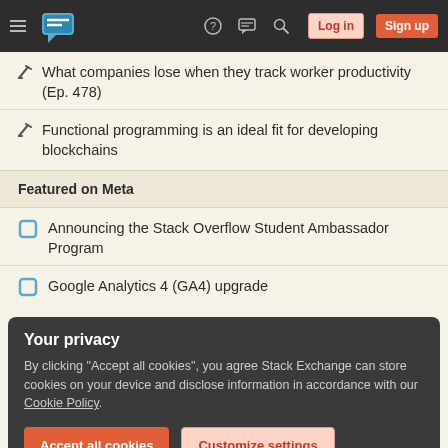Stack Overflow navigation bar with hamburger menu, logo, help, chat, search, Log in, Sign up buttons
What companies lose when they track worker productivity (Ep. 478)
Functional programming is an ideal fit for developing blockchains
Featured on Meta
Announcing the Stack Overflow Student Ambassador Program
Google Analytics 4 (GA4) upgrade
Your privacy
By clicking "Accept all cookies", you agree Stack Exchange can store cookies on your device and disclose information in accordance with our Cookie Policy.
Accept all cookies | Customize settings